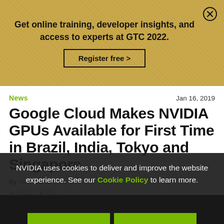[Figure (other): Promotional banner with sandy/gold texture background. Text: 'Get online training, developer insights, and access to experts at GTC 2022.' with a 'Register free >' button and close (X) icon.]
News
Jan 16, 2019
Google Cloud Makes NVIDIA GPUs Available for First Time in Brazil, India, Tokyo and Singapore
By Nefi Alarcon
[Discuss] [Share]
Tags: [Google Cloud] [NVIDIA GPU]
NVIDIA uses cookies to deliver and improve the website experience. See our Cookie Policy to learn more.
[Figure (photo): Dark bottom strip with two green bars visible at the bottom edge of the page.]